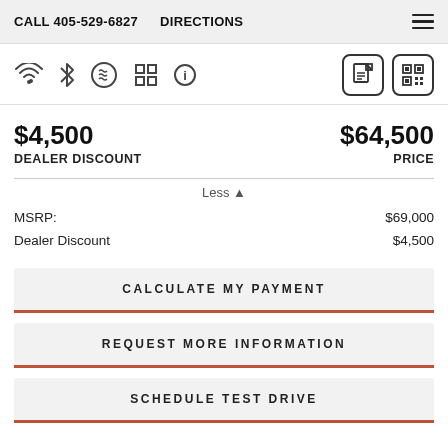CALL 405-529-6827  DIRECTIONS
[Figure (infographic): Row of feature icons: WiFi, Bluetooth, heated seats, apps grid, info button; plus document and QR code buttons on the right]
$4,500 DEALER DISCOUNT   $64,500 PRICE
Less ▲
|  |  |
| --- | --- |
| MSRP: | $69,000 |
| Dealer Discount | $4,500 |
CALCULATE MY PAYMENT
REQUEST MORE INFORMATION
SCHEDULE TEST DRIVE